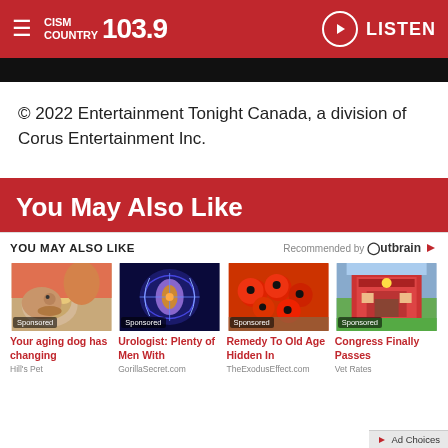CISM COUNTRY 103.9 — LISTEN
[Figure (screenshot): Dark image bar (partial image at top of page)]
© 2022 Entertainment Tonight Canada, a division of Corus Entertainment Inc.
You May Also Like
[Figure (infographic): Outbrain 'You May Also Like' recommendation widget with four sponsored cards: 1) Dog photo - 'Your aging dog has changing' by Hill's Pet (Sponsored); 2) Medical illustration - 'Urologist: Plenty of Men With' by GorillaSecret.com (Sponsored); 3) Red berries photo - 'Remedy To Old Age Hidden In' by TheExodusEffect.com (Sponsored); 4) Building sign photo - 'Congress Finally Passes' by Vet Rates (Sponsored). Header: 'YOU MAY ALSO LIKE' with 'Recommended by Outbrain' on right.]